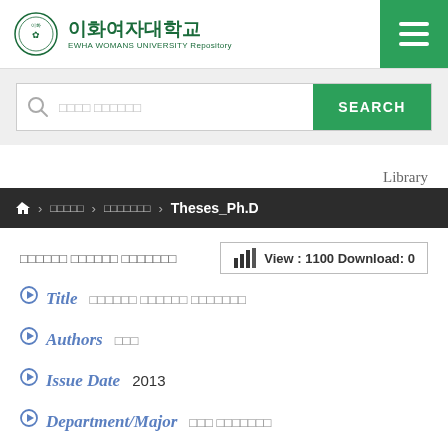[Figure (logo): Ewha Womans University Repository logo with Korean text 이화여자대학교 and English subtitle EWHA WOMANS UNIVERSITY Repository]
이화여자대학교 EWHA WOMANS UNIVERSITY Repository
SEARCH
Library
🏠 > 이화여대 > 이화여자대학교 > Theses_Ph.D
이화여자 이화여대 이화여자대학교
View : 1100 Download: 0
Title  이화여자 이화여대 이화여자대학교
Authors  이화여
Issue Date  2013
Department/Major  이화여 이화여자대학교